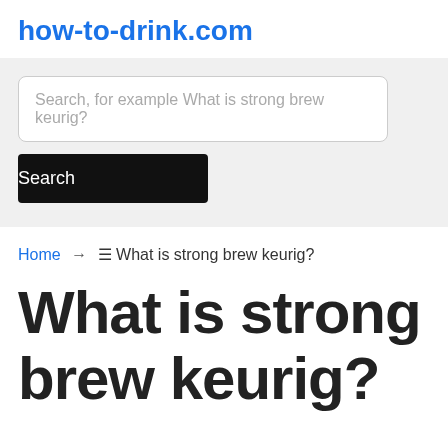how-to-drink.com
Search, for example What is strong brew keurig?
Search
Home → ☰ What is strong brew keurig?
What is strong brew keurig?